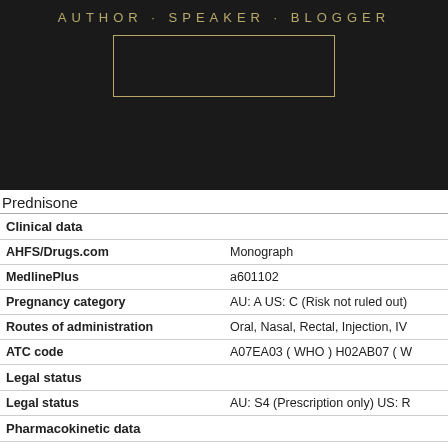[Figure (photo): Dark banner with gold text reading AUTHOR · SPEAKER · BLOGGER and a gold rectangular border outline below it, on a black/dark brown background.]
Prednisone
| Field | Value |
| --- | --- |
| Clinical data |  |
| AHFS/Drugs.com | Monograph |
| MedlinePlus | a601102 |
| Pregnancy category | AU: A US: C (Risk not ruled out) |
| Routes of administration | Oral, Nasal, Rectal, Injection, IV |
| ATC code | A07EA03 ( WHO ) H02AB07 ( W |
| Legal status |  |
| Legal status | AU: S4 (Prescription only) US: R |
| Pharmacokinetic data |  |
| Bioavailability | 70% |
| Metabolism | prednisolone (liver) |